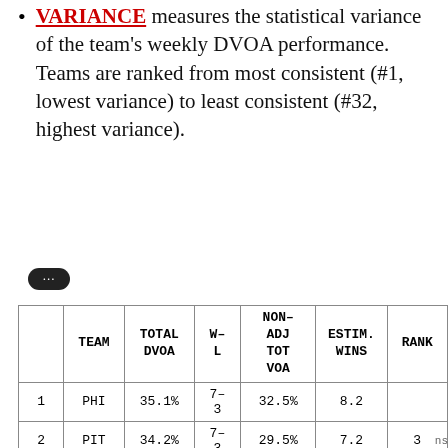VARIANCE measures the statistical variance of the team's weekly DVOA performance. Teams are ranked from most consistent (#1, lowest variance) to least consistent (#32, highest variance).
|  | TEAM | TOTAL DVOA | W-L | NON-ADJ TOT VOA | ESTIM. WINS | RANK |
| --- | --- | --- | --- | --- | --- | --- |
| 1 | PHI | 35.1% | 7-3 | 32.5% | 8.2 |  |
| 2 | PIT | 34.2% | 7-3 | 29.5% | 7.2 | 3 |
| 3 | NE | 26.9% | 8-2 | 18.9% | 7.3 | 2 |